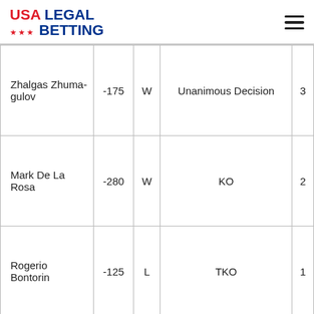USA LEGAL BETTING
| Fighter | Odds | Result | Method | Round |
| --- | --- | --- | --- | --- |
| Zhalgas Zhumagulov | -175 | W | Unanimous Decision | 3 |
| Mark De La Rosa | -280 | W | KO | 2 |
| Rogerio Bontorin | -125 | L | TKO | 1 |
| (partial) |  |  | Split |  |